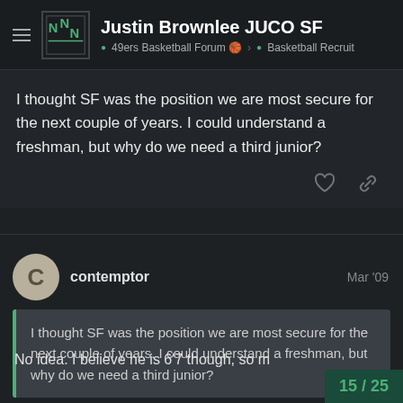Justin Brownlee JUCO SF | 49ers Basketball Forum | Basketball Recruit
I thought SF was the position we are most secure for the next couple of years. I could understand a freshman, but why do we need a third junior?
contemptor  Mar '09
I thought SF was the position we are most secure for the next couple of years. I could understand a freshman, but why do we need a third junior?
No idea. I believe he is 6'7 though, so m
15 / 25